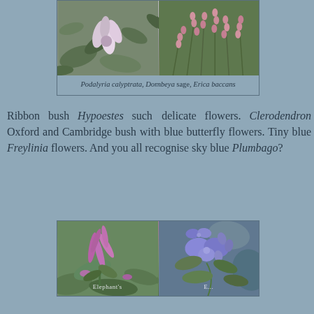[Figure (photo): Two side-by-side botanical photos: left shows Podalyria calyptrata (pink/white tubular flowers with green leaves), right shows Erica baccans (small pink bell-shaped flowers on green heath-like branches). Captioned below.]
Podalyria calyptrata, Dombeya sage, Erica baccans
Ribbon bush Hypoestes such delicate flowers. Clerodendron Oxford and Cambridge bush with blue butterfly flowers. Tiny blue Freylinia flowers. And you all recognise sky blue Plumbago?
[Figure (photo): Two side-by-side botanical photos at bottom: left shows a pink/purple flower with elongated petals (possibly Freylinia or ribbon bush), right shows blue/purple butterfly-shaped flowers (Clerodendron). Text overlay reads 'Elephant's E...']